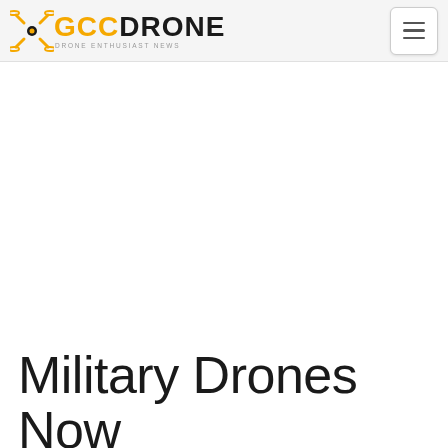GCCDRONE
[Figure (other): Large white/blank hero image area below the navigation header]
Military Drones Now